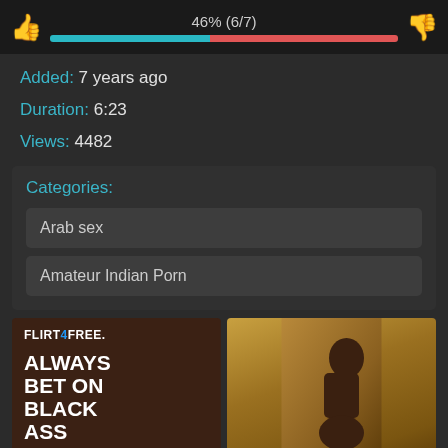[Figure (infographic): Rating bar showing 46% (6/7) with thumbs up icon on left and thumbs down on right, blue and red progress bar]
Added: 7 years ago
Duration: 6:23
Views: 4482
Categories:
Arab sex
Amateur Indian Porn
[Figure (photo): Flirt4Free advertisement with text ALWAYS BET ON BLACK ASS alongside photo of a woman]